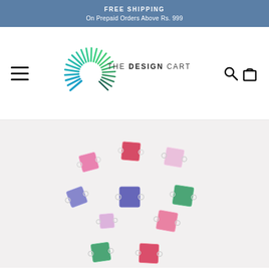FREE SHIPPING
On Prepaid Orders Above Rs. 999
[Figure (logo): The Design Cart logo with a circular sunburst/C-shape mark in blue/teal gradients and text 'THE DESIGN CART' in sans-serif. Hamburger menu on left, search and cart icons on right.]
[Figure (photo): Multiple square gemstone connectors/charms scattered on a light background in various colors: pink, red, blue/purple, green, and light pink/lavender. Each connector has small ring loops on the sides.]